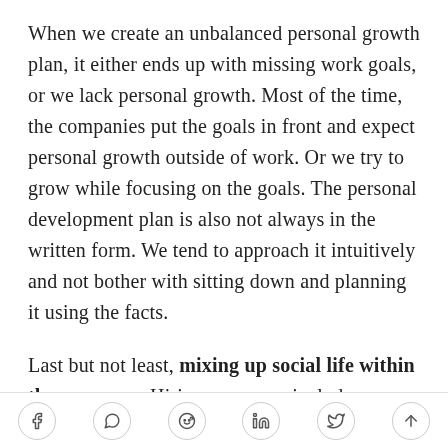When we create an unbalanced personal growth plan, it either ends up with missing work goals, or we lack personal growth. Most of the time, the companies put the goals in front and expect personal growth outside of work. Or we try to grow while focusing on the goals. The personal development plan is also not always in the written form. We tend to approach it intuitively and not bother with sitting down and planning it using the facts.
Last but not least, mixing up social life within the company. Hiring processes include cultural fit to make sure that we're bringing someone we can have a better interaction with. Since humans are social
[social share icons: Facebook, WhatsApp, Reddit, LinkedIn, Twitter, scroll-up]